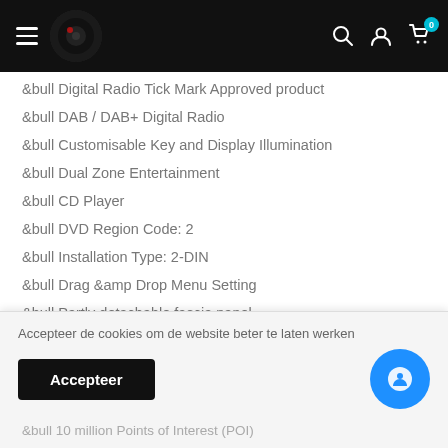Navigation header with logo, search, account, and cart icons
&bull Digital Radio Tick Mark Approved product
&bull DAB / DAB+ Digital Radio
&bull Customisable Key and Display Illumination
&bull Dual Zone Entertainment
&bull CD Player
&bull DVD Region Code: 2
&bull Installation Type: 2-DIN
&bull Drag &amp Drop Menu Setting
&bull Partly detachable fascia panel
Accepteer de cookies om de website beter te laten werken
&bull 10 million Points of Interest (POI)